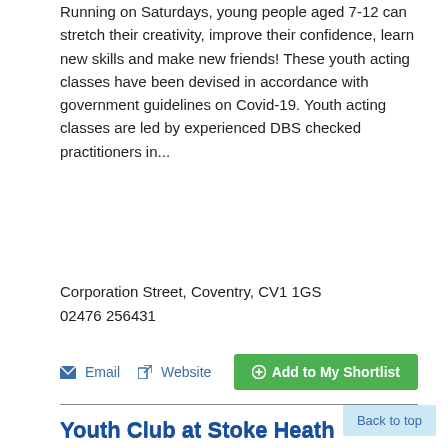Running on Saturdays, young people aged 7-12 can stretch their creativity, improve their confidence, learn new skills and make new friends! These youth acting classes have been devised in accordance with government guidelines on Covid-19. Youth acting classes are led by experienced DBS checked practitioners in...
Corporation Street, Coventry, CV1 1GS
02476 256431
Email   Website   Add to My Shortlist
Youth Club at Stoke Heath Community Centre
18.00 to 19.30
roup for children aged 6 years to 14 years meet